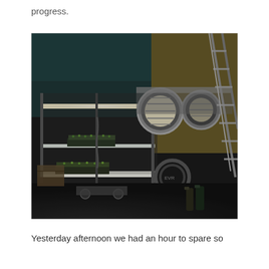progress.
[Figure (photo): Interior of a dark industrial warehouse/facility with shelving units containing grow lights illuminating small plant seedlings in trays, a metal staircase on the right, large circular ventilation ducts, and various equipment on the floor.]
Yesterday afternoon we had an hour to spare so